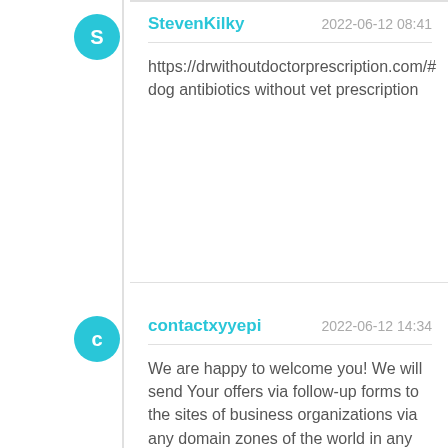StevenKilky — 2022-06-12 08:41
https://drwithoutdoctorprescription.com/# dog antibiotics without vet prescription
contactxyyepi — 2022-06-12 14:34
We are happy to welcome you! We will send Your offers via follow-up forms to the sites of business organizations via any domain zones of the world in any languages. https://contact-forms.su/ WHAT IS THE MAILING OF INTERNET RESOURCES BY FEEDBACK FORMS? This is a type of mailing using the feedback forms that are located in the feedback section of the website and filled by our robot in automatic mode with a rate of a few thousand contact forms per 1